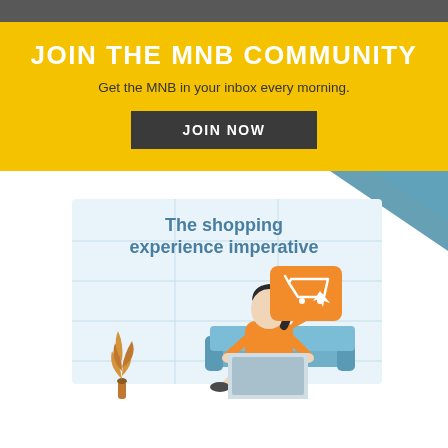JOIN THE MNB COMMUNITY
Get the MNB in your inbox every morning.
JOIN NOW
[Figure (illustration): Illustration showing a woman sitting on a couch with a laptop, with a shopping cart speech bubble icon, a plant, and teal decorative triangles in the top right corner. Text reads 'The shopping experience imperative'.]